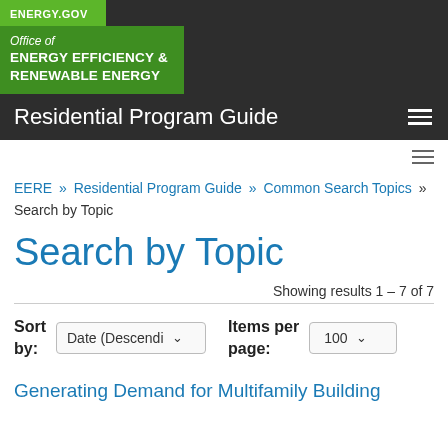ENERGY.GOV — Office of ENERGY EFFICIENCY & RENEWABLE ENERGY — Residential Program Guide
EERE » Residential Program Guide » Common Search Topics » Search by Topic
Search by Topic
Showing results 1 – 7 of 7
Sort by: Date (Descendi ▾    Items per page: 100 ▾
Generating Demand for Multifamily Building